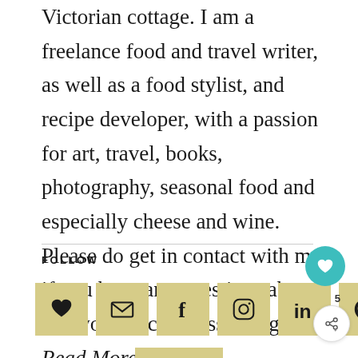Victorian cottage. I am a freelance food and travel writer, as well as a food stylist, and recipe developer, with a passion for art, travel, books, photography, seasonal food and especially cheese and wine. Please do get in contact with me if you have any questions about my work or commissioning me. Read More...
FOLLOW
[Figure (infographic): Row of six social media icon buttons on gold/khaki square backgrounds: heart/bookmark, email envelope, Facebook f, Instagram camera circle, LinkedIn in, Pinterest P. A teal circular heart button and a share button with count 5 appear on the right side.]